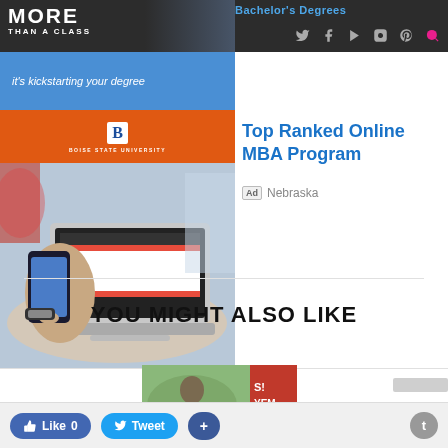MORE THAN A CLASS — Bachelor's Degrees
[Figure (screenshot): Boise State University ad banner with blue and orange colors, text 'it's kickstarting your degree']
[Figure (photo): Person holding smartphone next to laptop computer on a table]
Top Ranked Online MBA Program
Ad Nebraska
YOU MIGHT ALSO LIKE
[Figure (photo): Thumbnail image with red overlay showing 'S! YEM' text]
Like 0  Tweet  +  t